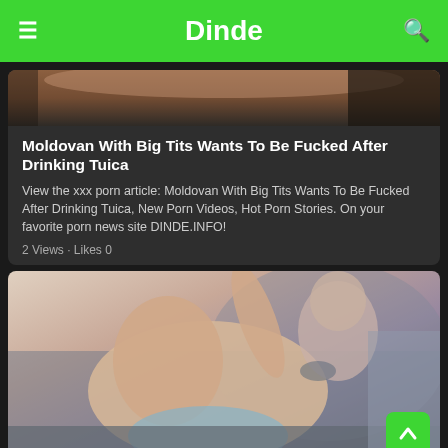Dinde
[Figure (photo): Thumbnail image at top of article card]
Moldovan With Big Tits Wants To Be Fucked After Drinking Tuica
View the xxx porn article: Moldovan With Big Tits Wants To Be Fucked After Drinking Tuica, New Porn Videos, Hot Porn Stories. On your favorite porn news site DINDE.INFO!
2 Views · Likes 0
[Figure (photo): Second article thumbnail photo]
She Is Sexy She Reveals Her Naked Pussy On The P...